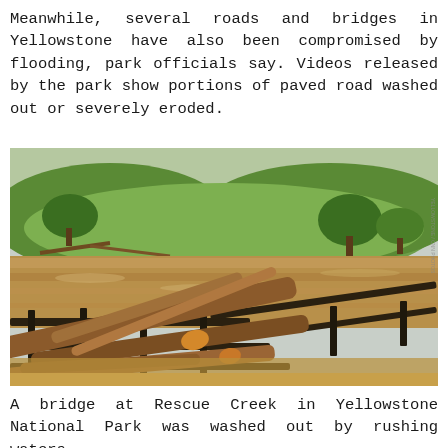Meanwhile, several roads and bridges in Yellowstone have also been compromised by flooding, park officials say. Videos released by the park show portions of paved road washed out or severely eroded.
[Figure (photo): A flooded creek scene at Rescue Creek in Yellowstone National Park. The foreground shows a wooden bridge railing loaded with fallen, tangled logs and debris. Rushing brown floodwaters fill the creek channel. The background shows green meadow hillsides and scattered trees under an overcast sky.]
A bridge at Rescue Creek in Yellowstone National Park was washed out by rushing waters.